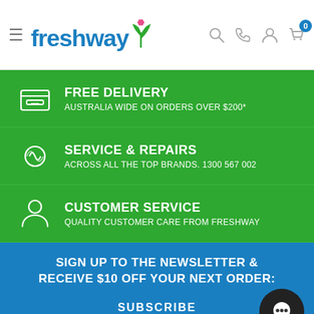[Figure (logo): Freshway logo with blue text and green leaf/flower icon]
FREE DELIVERY
AUSTRALIA WIDE ON ORDERS OVER $200*
SERVICE & REPAIRS
ACROSS ALL THE TOP BRANDS. 1300 567 002
CUSTOMER SERVICE
QUALITY CUSTOMER CARE FROM FRESHWAY
SIGN UP TO THE NEWSLETTER & RECEIVE $10 OFF YOUR NEXT ORDER:
SUBSCRIBE